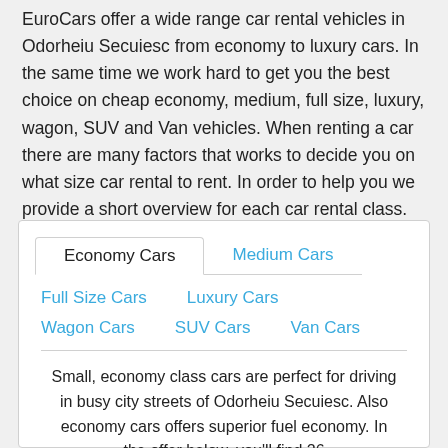EuroCars offer a wide range car rental vehicles in Odorheiu Secuiesc from economy to luxury cars. In the same time we work hard to get you the best choice on cheap economy, medium, full size, luxury, wagon, SUV and Van vehicles. When renting a car there are many factors that works to decide you on what size car rental to rent. In order to help you we provide a short overview for each car rental class.
Economy Cars
Medium Cars
Full Size Cars
Luxury Cars
Wagon Cars
SUV Cars
Van Cars
Small, economy class cars are perfect for driving in busy city streets of Odorheiu Secuiesc. Also economy cars offers superior fuel economy. In the offer below, you'll find 26